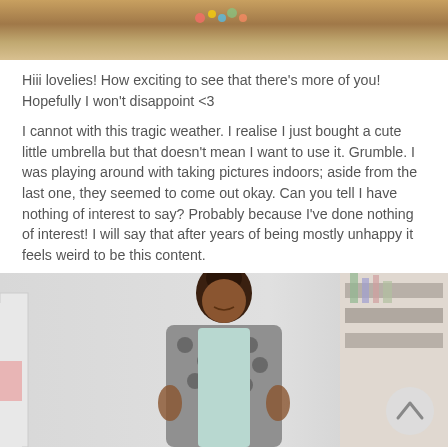[Figure (photo): Top portion of a photo showing a person's midsection with colorful accessories on a light background]
Hiii lovelies! How exciting to see that there's more of you! Hopefully I won't disappoint <3

I cannot with this tragic weather. I realise I just bought a cute little umbrella but that doesn't mean I want to use it. Grumble. I was playing around with taking pictures indoors; aside from the last one, they seemed to come out okay. Can you tell I have nothing of interest to say? Probably because I've done nothing of interest! I will say that after years of being mostly unhappy it feels weird to be this content.
[Figure (photo): A smiling woman wearing a grey floral cardigan over a light shirt, standing in a room with shelving visible in the background]